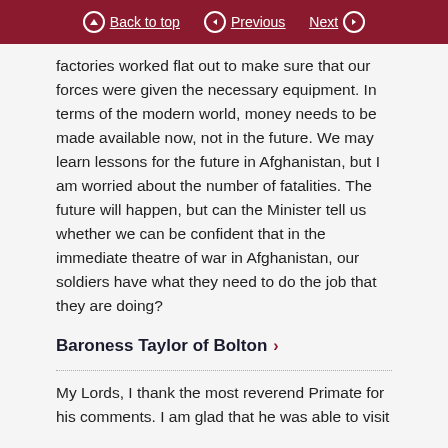Back to top | Previous | Next
factories worked flat out to make sure that our forces were given the necessary equipment. In terms of the modern world, money needs to be made available now, not in the future. We may learn lessons for the future in Afghanistan, but I am worried about the number of fatalities. The future will happen, but can the Minister tell us whether we can be confident that in the immediate theatre of war in Afghanistan, our soldiers have what they need to do the job that they are doing?
Baroness Taylor of Bolton
My Lords, I thank the most reverend Primate for his comments. I am glad that he was able to visit